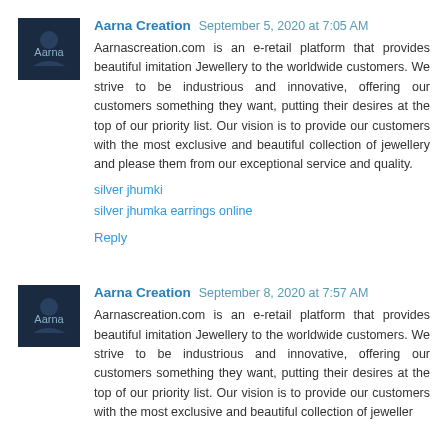Aarna Creation  September 5, 2020 at 7:05 AM
Aarnascreation.com is an e-retail platform that provides beautiful imitation Jewellery to the worldwide customers. We strive to be industrious and innovative, offering our customers something they want, putting their desires at the top of our priority list. Our vision is to provide our customers with the most exclusive and beautiful collection of jewellery and please them from our exceptional service and quality.
silver jhumki
silver jhumka earrings online
Reply
Aarna Creation  September 8, 2020 at 7:57 AM
Aarnascreation.com is an e-retail platform that provides beautiful imitation Jewellery to the worldwide customers. We strive to be industrious and innovative, offering our customers something they want, putting their desires at the top of our priority list. Our vision is to provide our customers with the most exclusive and beautiful collection of jeweller